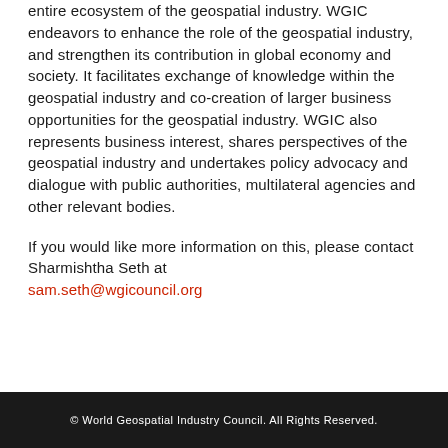entire ecosystem of the geospatial industry. WGIC endeavors to enhance the role of the geospatial industry, and strengthen its contribution in global economy and society. It facilitates exchange of knowledge within the geospatial industry and co-creation of larger business opportunities for the geospatial industry. WGIC also represents business interest, shares perspectives of the geospatial industry and undertakes policy advocacy and dialogue with public authorities, multilateral agencies and other relevant bodies.
If you would like more information on this, please contact Sharmishtha Seth at sam.seth@wgicouncil.org
© World Geospatial Industry Council. All Rights Reserved.